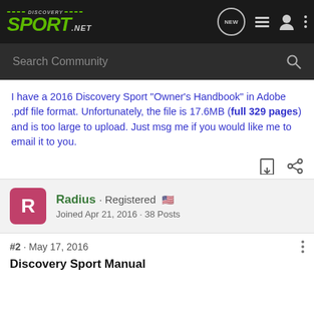Discovery Sport NET — Search Community
I have a 2016 Discovery Sport "Owner's Handbook" in Adobe .pdf file format. Unfortunately, the file is 17.6MB (full 329 pages) and is too large to upload. Just msg me if you would like me to email it to you.
Radius · Registered
Joined Apr 21, 2016 · 38 Posts
#2 · May 17, 2016
Discovery Sport Manual